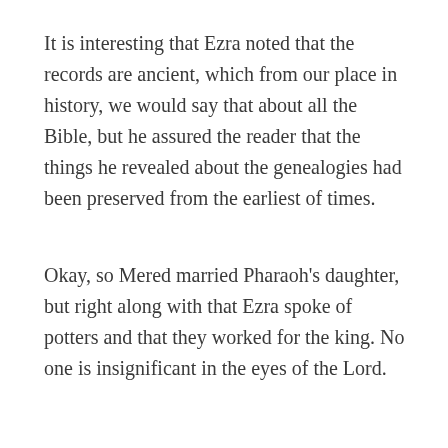It is interesting that Ezra noted that the records are ancient, which from our place in history, we would say that about all the Bible, but he assured the reader that the things he revealed about the genealogies had been preserved from the earliest of times.
Okay, so Mered married Pharaoh's daughter, but right along with that Ezra spoke of potters and that they worked for the king. No one is insignificant in the eyes of the Lord.